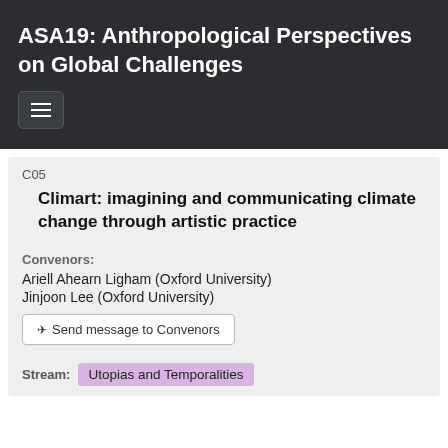ASA19: Anthropological Perspectives on Global Challenges
C05
Climart: imagining and communicating climate change through artistic practice
Convenors:
Ariell Ahearn Ligham (Oxford University)
Jinjoon Lee (Oxford University)
Send message to Convenors
Stream: Utopias and Temporalities